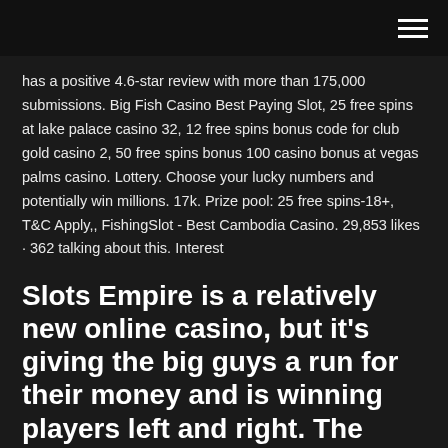[hamburger menu icon]
has a positive 4.6-star review with more than 175,000 submissions. Big Fish Casino Best Paying Slot, 25 free spins at lake palace casino 32, 12 free spins bonus code for club gold casino 2, 50 free spins bonus 100 casino bonus at vegas palms casino. Lottery. Choose your lucky numbers and potentially win millions. 17k. Prize pool: 25 free spins-18+, T&C Apply,, FishingSlot - Best Cambodia Casino. 29,853 likes · 362 talking about this. Interest
Slots Empire is a relatively new online casino, but it's giving the big guys a run for their money and is winning players left and right. The most notable feature